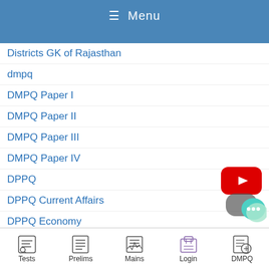≡ Menu
Districts GK of Rajasthan
dmpq
DMPQ Paper I
DMPQ Paper II
DMPQ Paper III
DMPQ Paper IV
DPPQ
DPPQ Current Affairs
DPPQ Economy
DPPQ Environment
DPPQ Geography
DPPQ History
[Figure (screenshot): YouTube play button icon (red rounded rectangle with white play triangle)]
[Figure (illustration): WhatsApp logo (green circle with white phone icon)]
[Figure (illustration): Chat bubble icon in teal/green colors]
Tests   Prelims   Mains   Login   DMPQ